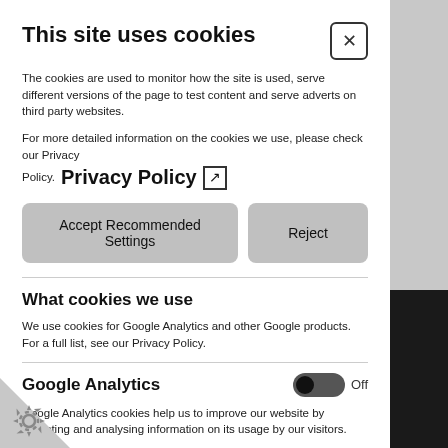This site uses cookies
The cookies are used to monitor how the site is used, serve different versions of the page to test content and serve adverts on third party websites.
For more detailed information on the cookies we use, please check our Privacy Policy. Privacy Policy ↗
Accept Recommended Settings | Reject
What cookies we use
We use cookies for Google Analytics and other Google products. For a full list, see our Privacy Policy.
Google Analytics
Google Analytics cookies help us to improve our website by collecting and analysing information on its usage by our visitors.